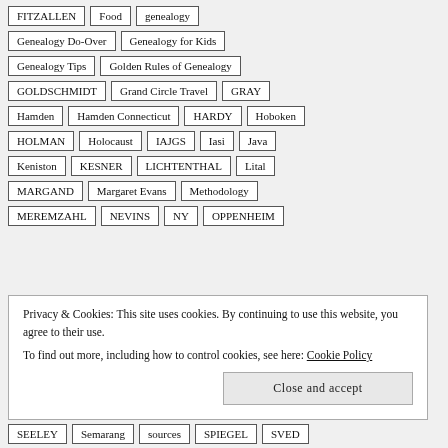FITZALLEN
Food
genealogy
Genealogy Do-Over
Genealogy for Kids
Genealogy Tips
Golden Rules of Genealogy
GOLDSCHMIDT
Grand Circle Travel
GRAY
Hamden
Hamden Connecticut
HARDY
Hoboken
HOLMAN
Holocaust
IAJGS
Iasi
Java
Keniston
KESNER
LICHTENTHAL
Lital
MARGAND
Margaret Evans
Methodology
MEREMZAHL
NEVINS
NY
OPPENHEIM
Privacy & Cookies: This site uses cookies. By continuing to use this website, you agree to their use.
To find out more, including how to control cookies, see here: Cookie Policy
SEELEY
Semarang
sources
SPIEGEL
SVED